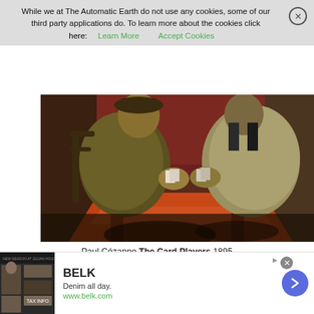While we at The Automatic Earth do not use any cookies, some of our third party applications do. To learn more about the cookies click here: Learn More   Accept Cookies
[Figure (illustration): Paul Cézanne painting 'The Card Players' 1895 — two figures seated at a table playing cards, with orange-red tablecloth, painted in post-impressionist style with muted earth tones]
Paul Cézanne The Card Players 1895
[Figure (other): BELK advertisement banner: 'Denim all day. www.belk.com' with model images and blue circular arrow button]